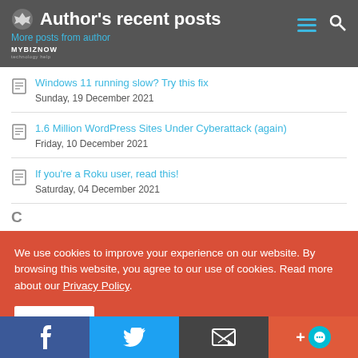Author's recent posts
More posts from author
Windows 11 running slow? Try this fix
Sunday, 19 December 2021
1.6 Million WordPress Sites Under Cyberattack (again)
Friday, 10 December 2021
If you're a Roku user, read this!
Saturday, 04 December 2021
We use cookies to improve your experience on our website. By browsing this website, you agree to our use of cookies. Read more about our Privacy Policy.
I accept